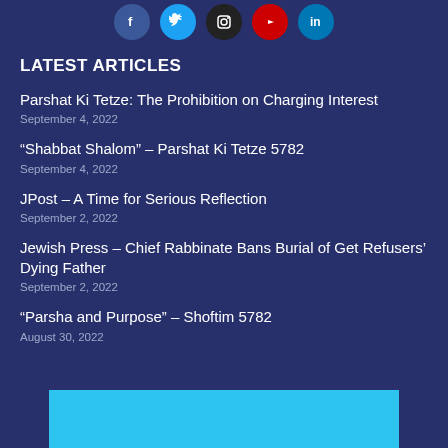[Figure (infographic): Row of five social media icons (Facebook blue, Twitter light blue, Instagram black, YouTube red, LinkedIn blue) as circular buttons at the top of the page]
LATEST ARTICLES
Parshat Ki Tetze: The Prohibition on Charging Interest
September 4, 2022
“Shabbat Shalom” – Parshat Ki Tetze 5782
September 4, 2022
JPost – A Time for Serious Reflection
September 2, 2022
Jewish Press – Chief Rabbinate Bans Burial of Get Refusers’ Dying Father
September 2, 2022
“Parsha and Purpose” – Shoftim 5782
August 30, 2022
[Figure (other): Solid cyan/light blue rectangular block at the bottom of the page]